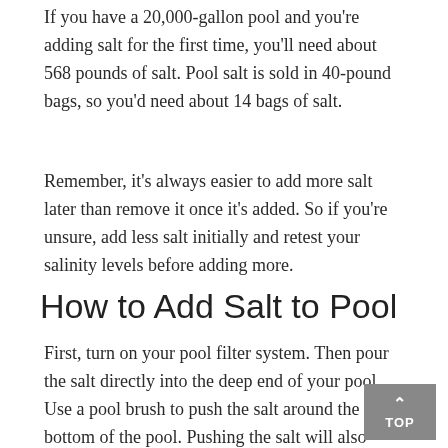If you have a 20,000-gallon pool and you're adding salt for the first time, you'll need about 568 pounds of salt. Pool salt is sold in 40-pound bags, so you'd need about 14 bags of salt.
Remember, it's always easier to add more salt later than remove it once it's added. So if you're unsure, add less salt initially and retest your salinity levels before adding more.
How to Add Salt to Pool
First, turn on your pool filter system. Then pour the salt directly into the deep end of your pool. Use a pool brush to push the salt around the bottom of the pool. Pushing the salt will also help it dissolve in the water. Then allow your pump and filter to run for 24